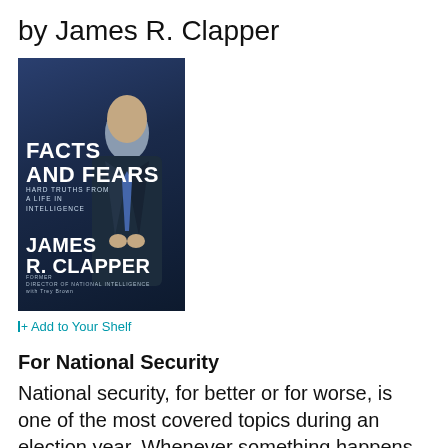by James R. Clapper
[Figure (photo): Book cover of 'Facts and Fears: Hard Truths from a Life in Intelligence' by James R. Clapper, showing a man in a dark suit against a grey/dark background with bold white text.]
|+| Add to Your Shelf
For National Security
National security, for better or for worse, is one of the most covered topics during an election year. Whenever something happens, CNN, MSNBC, and whatever else you might watch will